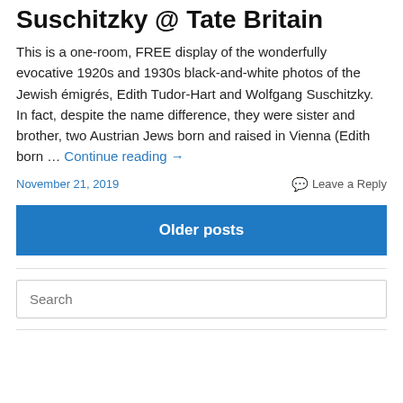Suschitzky @ Tate Britain
This is a one-room, FREE display of the wonderfully evocative 1920s and 1930s black-and-white photos of the Jewish émigrés, Edith Tudor-Hart and Wolfgang Suschitzky. In fact, despite the name difference, they were sister and brother, two Austrian Jews born and raised in Vienna (Edith born … Continue reading →
November 21, 2019    Leave a Reply
Older posts
Search